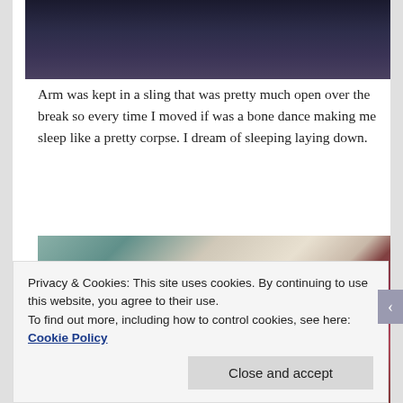[Figure (photo): Top cropped photo showing dark fabric/clothing against a light background]
Arm was kept in a sling that was pretty much open over the break so every time I moved if was a bone dance making me sleep like a pretty corpse. I dream of sleeping laying down.
[Figure (photo): Photo of two people, a woman leaning on a man's shoulder, indoors with shelving and wooden blinds in background]
Privacy & Cookies: This site uses cookies. By continuing to use this website, you agree to their use.
To find out more, including how to control cookies, see here: Cookie Policy
Close and accept